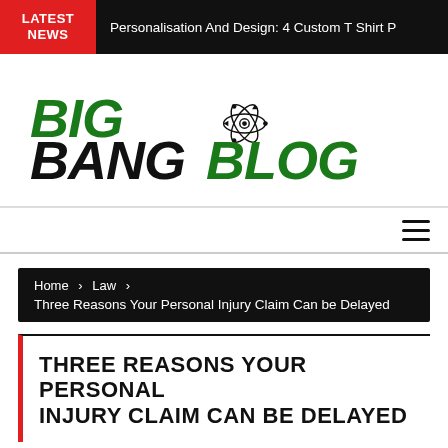LATEST NEWS | Personalisation And Design: 4 Custom T Shirt P
[Figure (logo): Big Bang Blog logo with atom icon — BIG in green italic bold, BANG BLOG in black and green italic bold]
Navigation hamburger menu
Home > Law > Three Reasons Your Personal Injury Claim Can be Delayed
THREE REASONS YOUR PERSONAL INJURY CLAIM CAN BE DELAYED